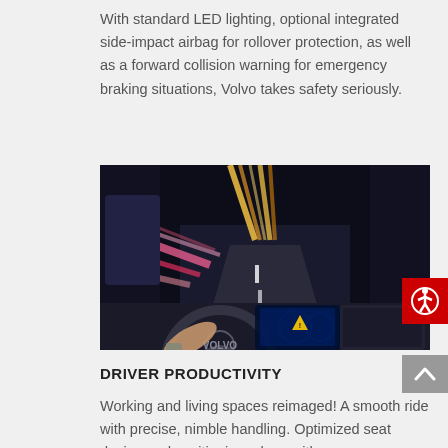With standard LED lighting, optional integrated side-impact airbag for rollover protection, as well as a forward collision warning for emergency braking situations, Volvo takes safety seriously.
[Figure (photo): Interior view of a Volvo truck cab at night, showing the driver's hands on the steering wheel with motion-blurred highway lights visible through the windshield.]
DRIVER PRODUCTIVITY
Working and living spaces reimaged! A smooth ride with precise, nimble handling. Optimized seat design and positioning, along with a new dashboard, puts you comfortably in command.